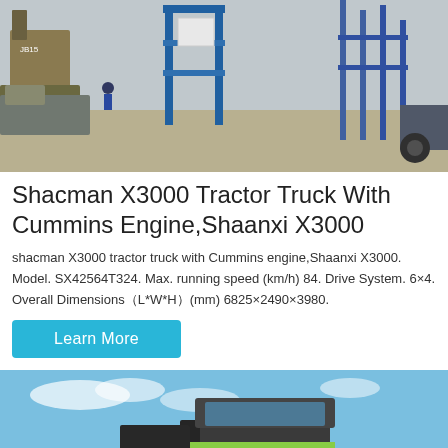[Figure (photo): Industrial yard with heavy machinery and blue metal frame structure in background, outdoor setting]
Shacman X3000 Tractor Truck With Cummins Engine,Shaanxi X3000
shacman X3000 tractor truck with Cummins engine,Shaanxi X3000. Model. SX42564T324. Max. running speed (km/h) 84. Drive System. 6×4. Overall Dimensions（L*W*H）(mm) 6825×2490×3980.
Learn More
[Figure (photo): Close-up of a truck cab/windshield area against a blue sky background]
MAIL   ADVISORY   OFFER